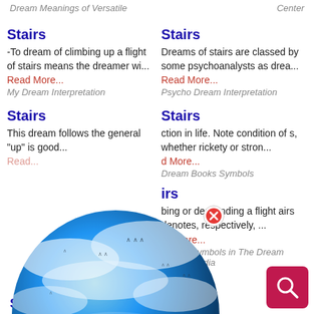Dream Meanings of Versatile
Center
Stairs
-To dream of climbing up a flight of stairs means the dreamer wi...
Read More...
My Dream Interpretation
Stairs
Dreams of stairs are classed by some psychoanalysts as drea...
Read More...
Psycho Dream Interpretation
Stairs
This dream follows the general "up" is good...
Read...
Stairs
ction in life. Note condition of s, whether rickety or stron...
d More...
Dream Books Symbols
irs
bing or descending a flight airs denotes, respectively, ...
ad More...
Dream Symbols in The Dream Encyclopedia
[Figure (logo): Dream Encyclopedia globe logo with clouds and birds, showing 'Dream Encyclopedia' text]
[Figure (other): Red circular close/X button]
[Figure (other): Dark pink/red search button with magnifying glass icon]
Stairs / Spiral Staircase